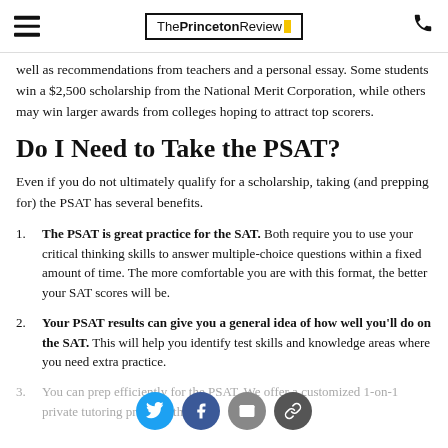The Princeton Review
well as recommendations from teachers and a personal essay. Some students win a $2,500 scholarship from the National Merit Corporation, while others may win larger awards from colleges hoping to attract top scorers.
Do I Need to Take the PSAT?
Even if you do not ultimately qualify for a scholarship, taking (and prepping for) the PSAT has several benefits.
The PSAT is great practice for the SAT. Both require you to use your critical thinking skills to answer multiple-choice questions within a fixed amount of time. The more comfortable you are with this format, the better your SAT scores will be.
Your PSAT results can give you a general idea of how well you'll do on the SAT. This will help you identify test skills and knowledge areas where you need extra practice.
You can prep efficiently for the PSAT. We offer a customized 1-on-1 private tutoring program that is as ...